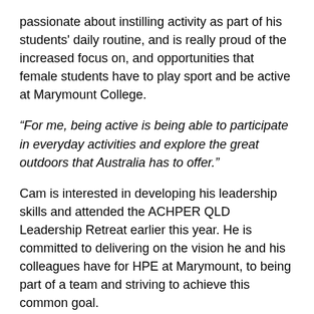passionate about instilling activity as part of his students' daily routine, and is really proud of the increased focus on, and opportunities that female students have to play sport and be active at Marymount College.
“For me, being active is being able to participate in everyday activities and explore the great outdoors that Australia has to offer.”
Cam is interested in developing his leadership skills and attended the ACHPER QLD Leadership Retreat earlier this year. He is committed to delivering on the vision he and his colleagues have for HPE at Marymount, to being part of a team and striving to achieve this common goal.
Top Tip for teachers: “Find a mentor that will help support you. Follow ACHPER and other teachers on Twitter / FB – some of the best PD you will do!”